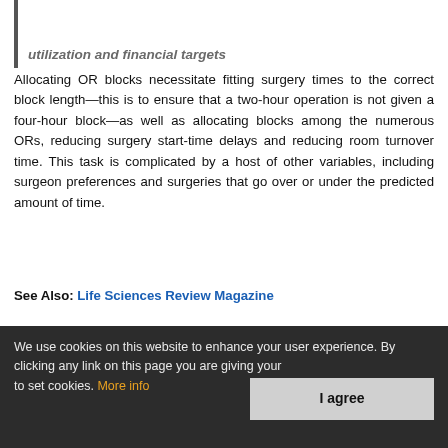utilization and financial targets
Allocating OR blocks necessitate fitting surgery times to the correct block length—this is to ensure that a two-hour operation is not given a four-hour block—as well as allocating blocks among the numerous ORs, reducing surgery start-time delays and reducing room turnover time. This task is complicated by a host of other variables, including surgeon preferences and surgeries that go over or under the predicted amount of time.
See Also: Life Sciences Review Magazine
Ashley Walsh, UCHealth's perioperative business manager, is responsible for reporting OR utilization and says that "(UCHealth) gets our data from a host of different sources."
We use cookies on this website to enhance your user experience. By clicking any link on this page you are giving your consent for us to set cookies. More info